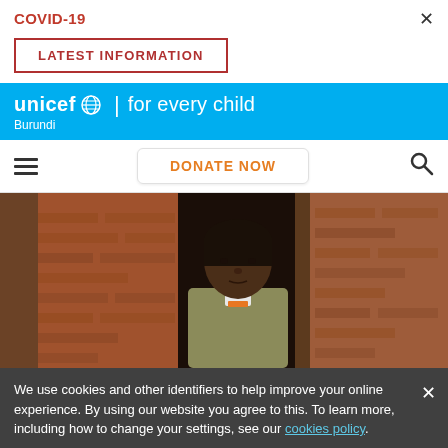COVID-19
LATEST INFORMATION
unicef for every child Burundi
DONATE NOW
[Figure (photo): Portrait of an African woman standing in a doorway of a mud-brick building, wearing a khaki jacket, looking to the side.]
We use cookies and other identifiers to help improve your online experience. By using our website you agree to this. To learn more, including how to change your settings, see our cookies policy.